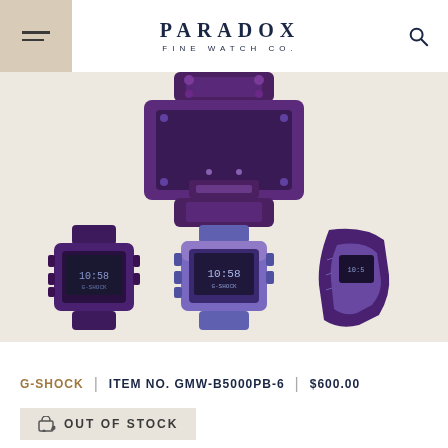PARADOX FINE WATCH CO.
[Figure (photo): Casio G-SHOCK GMW-B5000PB-6 watch in purple/aurora finish – zoomed main product shot showing top and clasp detail, plus three thumbnail angles: front face, front face angled, and side/band view]
G-SHOCK | ITEM NO. GMW-B5000PB-6 | $600.00
OUT OF STOCK